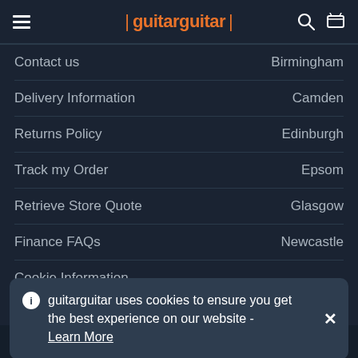guitarguitar
Contact us | Birmingham
Delivery Information | Camden
Returns Policy | Edinburgh
Track my Order | Epsom
Retrieve Store Quote | Glasgow
Finance FAQs | Newcastle
Cookie Information
guitarguitar uses cookies to ensure you get the best experience on our website - Learn More
guitarguitar | Contact Us